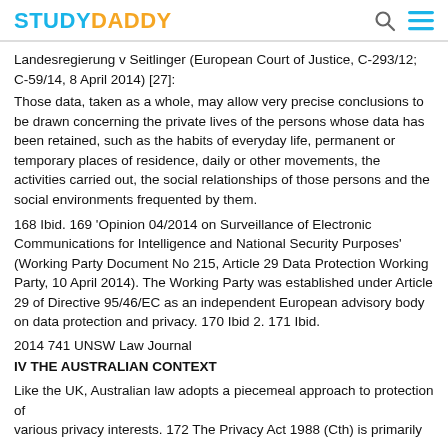STUDYDADDY
Landesregierung v Seitlinger (European Court of Justice, C-293/12; C-59/14, 8 April 2014) [27]:
Those data, taken as a whole, may allow very precise conclusions to be drawn concerning the private lives of the persons whose data has been retained, such as the habits of everyday life, permanent or temporary places of residence, daily or other movements, the activities carried out, the social relationships of those persons and the social environments frequented by them.
168 Ibid. 169 'Opinion 04/2014 on Surveillance of Electronic Communications for Intelligence and National Security Purposes' (Working Party Document No 215, Article 29 Data Protection Working Party, 10 April 2014). The Working Party was established under Article 29 of Directive 95/46/EC as an independent European advisory body on data protection and privacy. 170 Ibid 2. 171 Ibid.
2014 741 UNSW Law Journal
IV THE AUSTRALIAN CONTEXT
Like the UK, Australian law adopts a piecemeal approach to protection of
various privacy interests. 172 The Privacy Act 1988 (Cth) is primarily